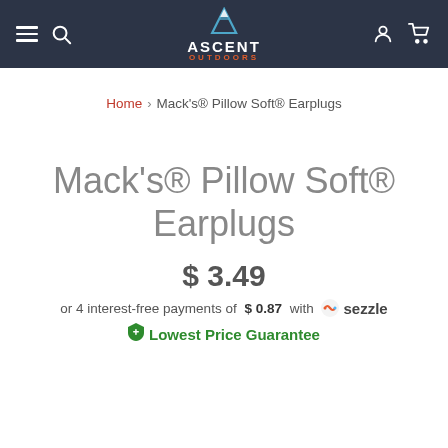Ascent Outdoors navigation bar with hamburger menu, search, logo, account and cart icons
Home > Mack's® Pillow Soft® Earplugs
Mack's® Pillow Soft® Earplugs
$ 3.49
or 4 interest-free payments of $ 0.87 with Sezzle
Lowest Price Guarantee